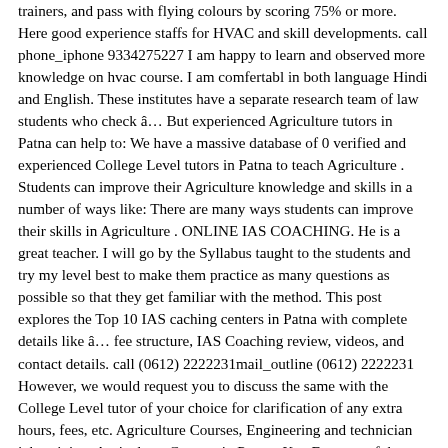trainers, and pass with flying colours by scoring 75% or more. Here good experience staffs for HVAC and skill developments. call phone_iphone 9334275227 I am happy to learn and observed more knowledge on hvac course. I am comfertabl in both language Hindi and English. These institutes have a separate research team of law students who check â​… But experienced Agriculture tutors in Patna can help to: We have a massive database of 0 verified and experienced College Level tutors in Patna to teach Agriculture . Students can improve their Agriculture knowledge and skills in a number of ways like: There are many ways students can improve their skills in Agriculture . ONLINE IAS COACHING. He is a great teacher. I will go by the Syllabus taught to the students and try my level best to make them practice as many questions as possible so that they get familiar with the method. This post explores the Top 10 IAS caching centers in Patna with complete details like â​… fee structure, IAS Coaching review, videos, and contact details. call (0612) 2222231mail_outline (0612) 2222231 However, we would request you to discuss the same with the College Level tutor of your choice for clarification of any extra hours, fees, etc. Agriculture Courses, Engineering and technician job training. Agriculture Courses in Patna . Key Features of the Course: Clarity in theories & Concepts to answer any given question more accurately. Department of agriculture programs are focused on that and the best agricultural companies in Patna also include those goals among their business objectives. FOUND 6